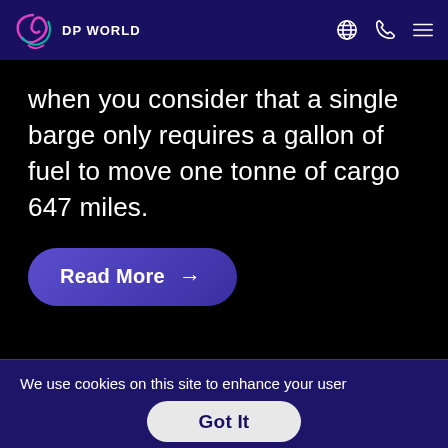DP WORLD
when you consider that a single barge only requires a gallon of fuel to move one tonne of cargo 647 miles.
Read More →
We use cookies on this site to enhance your user experience. By continuing to visit this site you agree to our use of cookies. Learn More
Got It